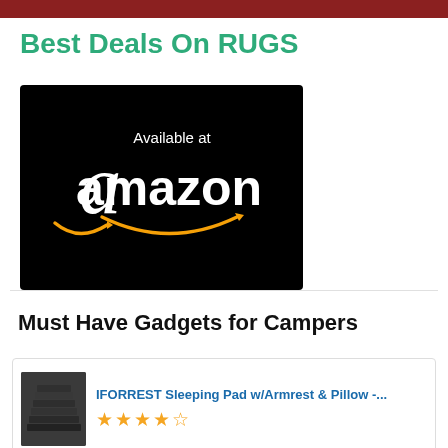Best Deals On RUGS
[Figure (logo): Available at amazon black badge with amazon logo and smile arrow]
Must Have Gadgets for Campers
[Figure (photo): IFORREST Sleeping Pad w/Armrest & Pillow product image, dark colored folded sleeping pad]
IFORREST Sleeping Pad w/Armrest & Pillow -...